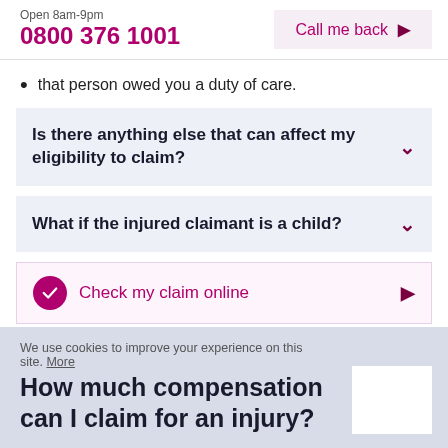Open 8am-9pm | 0800 376 1001 | Call me back
that person owed you a duty of care.
Is there anything else that can affect my eligibility to claim?
What if the injured claimant is a child?
Check my claim online
How much compensation can I claim for an injury?
We use cookies to improve your experience on this site. More